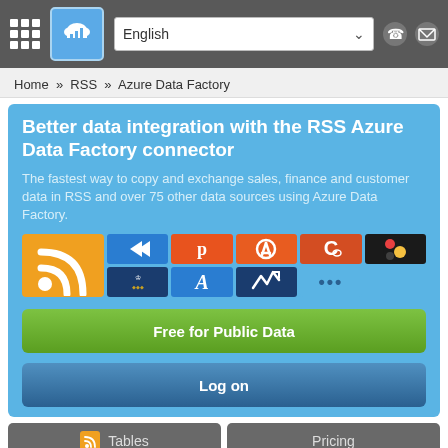Navigation bar with grid icon, cloud logo, English language dropdown, phone and mail icons
Home » RSS » Azure Data Factory
Better data integration with the RSS Azure Data Factory connector
The fastest way to copy and exchange sales, finance and customer data in RSS and over 75 other data sources using Azure Data Factory.
[Figure (logo): Grid of service logos: large RSS feed logo in orange, smaller logos for various services including Pipefy, HubSpot, Copper, a chat app, Dutch government, Azurite, a performance tracker, and more]
Free for Public Data
Log on
Tables
Pricing